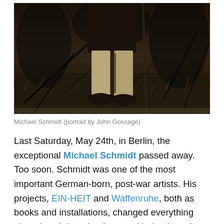[Figure (photo): Black and white photograph showing the lower body and legs of a person standing in an overgrown outdoor setting with branches and grass. The person wears dark shoes and light trousers. Portrait by John Gossage.]
Michael Schmidt (portrait by John Gossage)
Last Saturday, May 24th, in Berlin, the exceptional Michael Schmidt passed away. Too soon. Schmidt was one of the most important German-born, post-war artists. His projects, EIN-HEIT and Waffenruhe, both as books and installations, changed everything about how I thought about and indeed used photography.